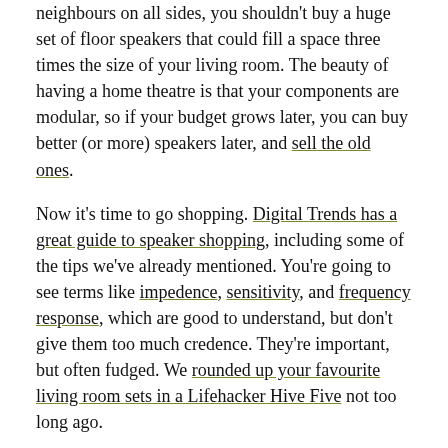neighbours on all sides, you shouldn't buy a huge set of floor speakers that could fill a space three times the size of your living room. The beauty of having a home theatre is that your components are modular, so if your budget grows later, you can buy better (or more) speakers later, and sell the old ones.
Now it's time to go shopping. Digital Trends has a great guide to speaker shopping, including some of the tips we've already mentioned. You're going to see terms like impedence, sensitivity, and frequency response, which are good to understand, but don't give them too much credence. They're important, but often fudged. We rounded up your favourite living room sets in a Lifehacker Hive Five not too long ago.
Choose The Right Soundbar
[Figure (illustration): Broken image placeholder labeled 'Image']
A soundbar is a small set of speakers in one, long housing. Most are self-powered and amplified, so you won't need